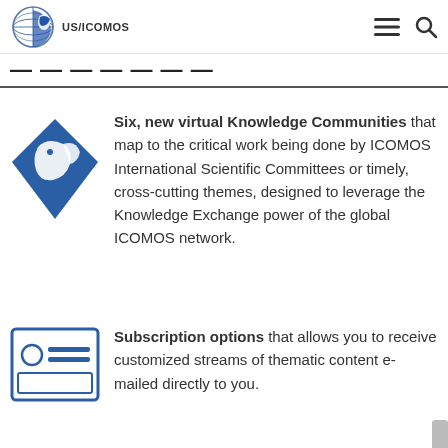US/ICOMOS
— (partially visible title)
Six, new virtual Knowledge Communities that map to the critical work being done by ICOMOS International Scientific Committees or timely, cross-cutting themes, designed to leverage the Knowledge Exchange power of the global ICOMOS network.
Subscription options that allows you to receive customized streams of thematic content e-mailed directly to you.